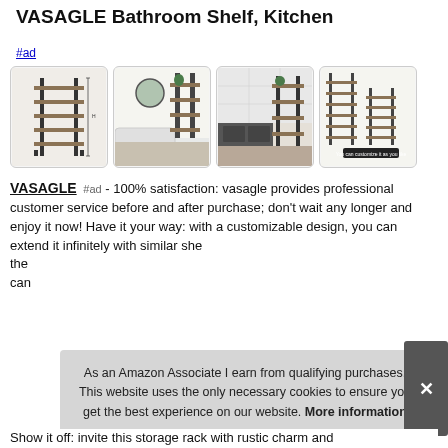VASAGLE Bathroom Shelf, Kitchen
#ad
[Figure (photo): Four product images of a VASAGLE bathroom shelf/storage rack in a row: standalone shelf with dimensions, shelf in bathroom, shelf in kitchen, and comparison of two sizes.]
VASAGLE #ad - 100% satisfaction: vasagle provides professional customer service before and after purchase; don't wait any longer and enjoy it now! Have it your way: with a customizable design, you can extend it infinitely with similar she... the... can...
As an Amazon Associate I earn from qualifying purchases. This website uses the only necessary cookies to ensure you get the best experience on our website. More information
Show it off: invite this storage rack with rustic charm and